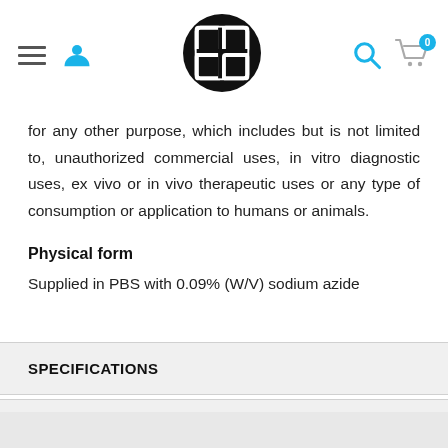SLS logo navigation bar with hamburger menu, user icon, search icon, and cart (0)
for any other purpose, which includes but is not limited to, unauthorized commercial uses, in vitro diagnostic uses, ex vivo or in vivo therapeutic uses or any type of consumption or application to humans or animals.
Physical form
Supplied in PBS with 0.09% (W/V) sodium azide
SPECIFICATIONS
DOCUMENTS